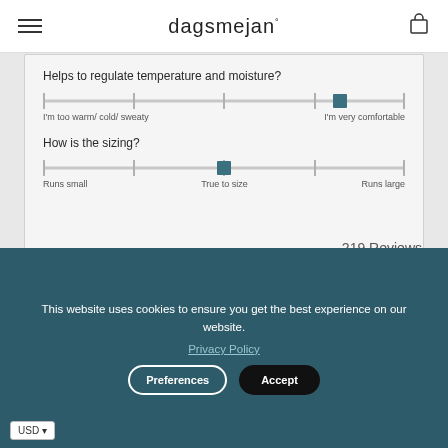dagsmejan
Helps to regulate temperature and moisture?
[Figure (other): Horizontal slider showing temperature/moisture comfort level, with thumb positioned near the right end (closer to 'I'm very comfortable'). Labels: left='I'm too warm/ cold/ sweaty', right='I'm very comfortable'.]
How is the sizing?
[Figure (other): Horizontal slider showing sizing, with thumb positioned at center ('True to size'). Labels: left='Runs small', center='True to size', right='Runs large'.]
219 Reviews
This website uses cookies to ensure you get the best experience on our website.
Privacy Policy
Preferences
Accept
USD